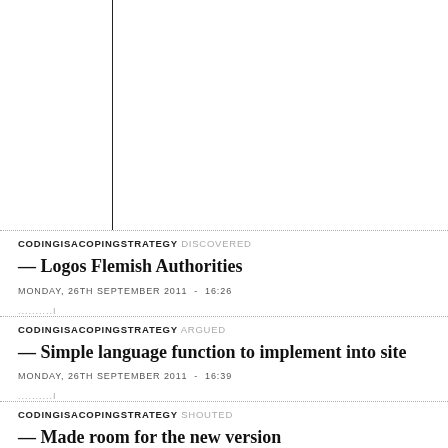CODINGISACOPINGSTRATEGY DISCOVERED
— Logos Flemish Authorities
MONDAY, 26TH SEPTEMBER 2011 - 16:26
CODINGISACOPINGSTRATEGY ARGUED
— Simple language function to implement into site
MONDAY, 26TH SEPTEMBER 2011 - 16:39
CODINGISACOPINGSTRATEGY SHOUTED
— Made room for the new version
MONDAY, 26TH SEPTEMBER 2011 - 17:36
GIJS DE HEIJ SHOUTED
— Added logo proposals